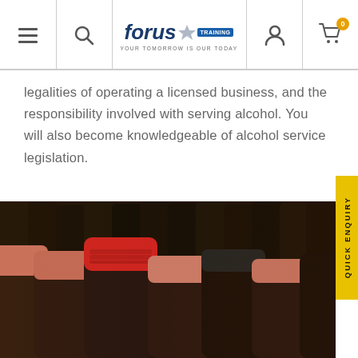Forus Training — navigation bar with menu, search, logo, user, and cart icons
legalities of operating a licensed business, and the responsibility involved with serving alcohol. You will also become knowledgeable of alcohol service legislation.
[Figure (photo): Close-up photograph of wine bottles on a shelf, showing red foil-topped wine bottle caps in the foreground and dark glass bottles in the background.]